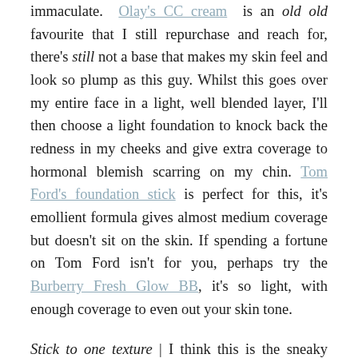immaculate. Olay's CC cream is an old old favourite that I still repurchase and reach for, there's still not a base that makes my skin feel and look so plump as this guy. Whilst this goes over my entire face in a light, well blended layer, I'll then choose a light foundation to knock back the redness in my cheeks and give extra coverage to hormonal blemish scarring on my chin. Tom Ford's foundation stick is perfect for this, it's emollient formula gives almost medium coverage but doesn't sit on the skin. If spending a fortune on Tom Ford isn't for you, perhaps try the Burberry Fresh Glow BB, it's so light, with enough coverage to even out your skin tone.
Stick to one texture | I think this is the sneaky keystone to easily achieving 'expensive skin'. As good as makeup formulas are now becoming